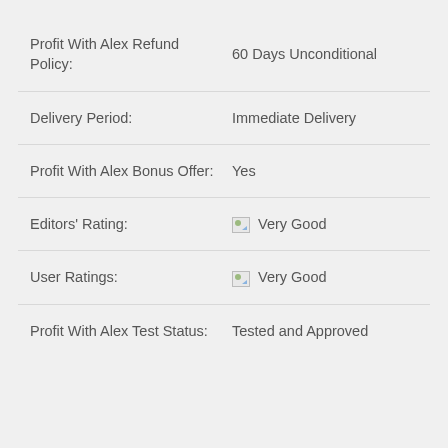|  |  |
| --- | --- |
| Profit With Alex Refund Policy: | 60 Days Unconditional |
| Delivery Period: | Immediate Delivery |
| Profit With Alex Bonus Offer: | Yes |
| Editors' Rating: | [img] Very Good |
| User Ratings: | [img] Very Good |
| Profit With Alex Test Status: | Tested and Approved |